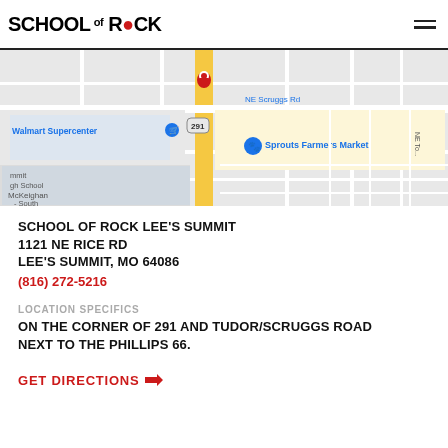SCHOOL OF ROCK
[Figure (map): Google Maps screenshot showing the location near NE Scruggs Rd and highway 291, with landmarks including Walmart Supercenter, Sprouts Farmers Market, and McKeighan - South visible.]
SCHOOL OF ROCK LEE'S SUMMIT
1121 NE RICE RD
LEE'S SUMMIT, MO 64086
(816) 272-5216
LOCATION SPECIFICS
ON THE CORNER OF 291 AND TUDOR/SCRUGGS ROAD NEXT TO THE PHILLIPS 66.
GET DIRECTIONS ➤